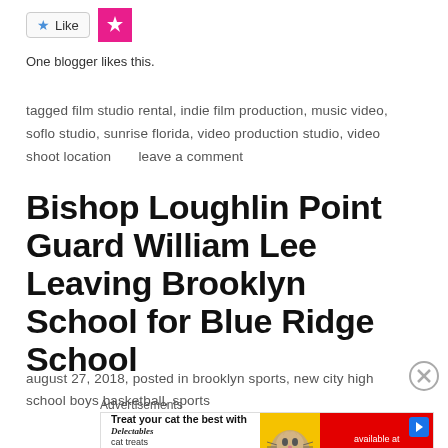[Figure (other): Like button with star icon and blogger avatar in pink square]
One blogger likes this.
tagged film studio rental, indie film production, music video, soflo studio, sunrise florida, video production studio, video shoot location      leave a comment
Bishop Loughlin Point Guard William Lee Leaving Brooklyn School for Blue Ridge School
august 27, 2018, posted in brooklyn sports, new city high school boys basketball, sports
Advertisements
[Figure (photo): Advertisement banner: Treat your cat the best with Delectables cat treats, available at amazon]